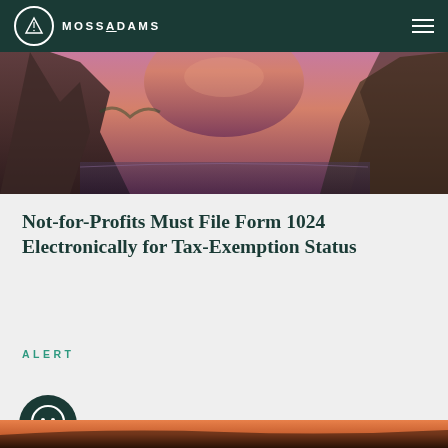MOSSADAMS
[Figure (photo): Rocky canyon with water reflection and purple-pink sunset sky]
Not-for-Profits Must File Form 1024 Electronically for Tax-Exemption Status
ALERT
[Figure (illustration): Dark teal circular icon with a chat/comment bubble symbol]
[Figure (photo): Sunset landscape with sky at bottom of page]